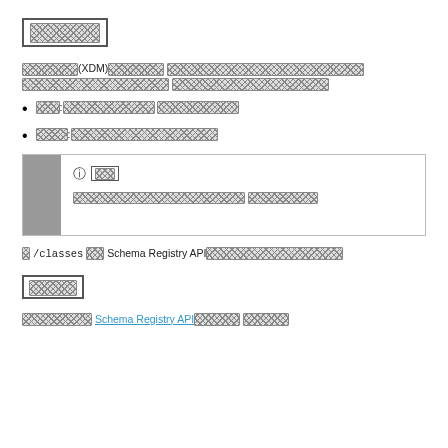[REDACTED]
[REDACTED](XDM)[REDACTED] [REDACTED]
[REDACTED]: [REDACTED] [REDACTED]
[REDACTED]: [REDACTED]
ℹ [NOTE] [REDACTED] [REDACTED LINK]
* /classes [REDACTED] Schema Registry API[REDACTED]
[REDACTED]
[REDACTED] Schema Registry API[REDACTED] [REDACTED LINK]